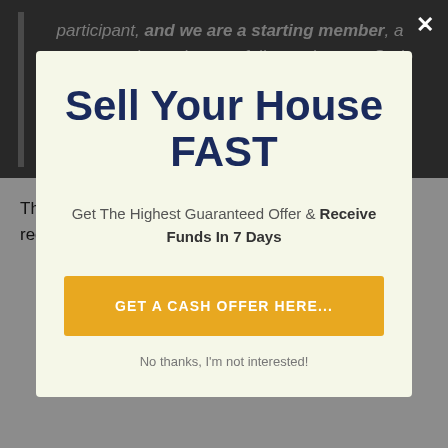participant, and we are a starting member, a money purchaser have to follow a rigorous Code Of Practise– comprising guidelines
Sell Your House FAST
Get The Highest Guaranteed Offer & Receive Funds In 7 Days
GET A CASH OFFER HERE...
No thanks, I'm not interested!
The Residential Property Ombudsman Scheme is a regulatory body that governs all firms operating in